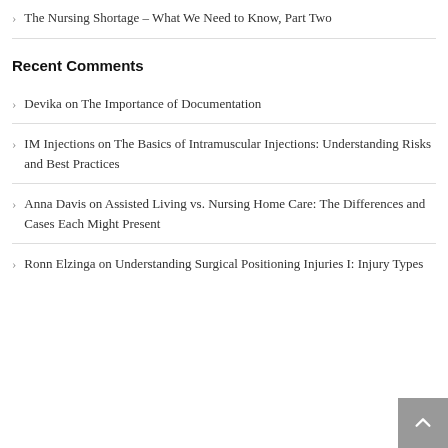The Nursing Shortage – What We Need to Know, Part Two
Recent Comments
Devika on The Importance of Documentation
IM Injections on The Basics of Intramuscular Injections: Understanding Risks and Best Practices
Anna Davis on Assisted Living vs. Nursing Home Care: The Differences and Cases Each Might Present
Ronn Elzinga on Understanding Surgical Positioning Injuries I: Injury Types